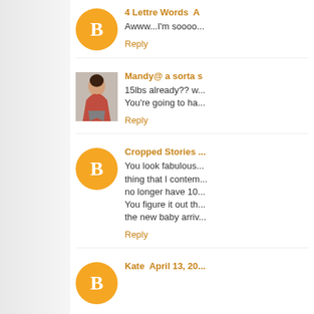4 Lettre Words  A...
Awww...I'm soooo...
Reply
Mandy@ a sorta...
15lbs already?? w... You're going to ha...
Reply
Cropped Stories...
You look fabulous... thing that I contem... no longer have 10... You figure it out th... the new baby arriv...
Reply
Kate  April 13, 20...